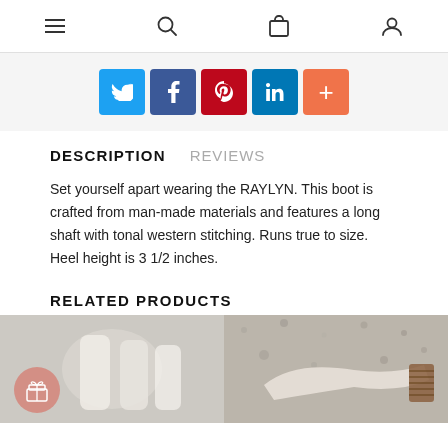Navigation bar with hamburger menu, search, bag, and account icons
[Figure (infographic): Social sharing buttons: Twitter, Facebook, Pinterest, LinkedIn, and a plus/more button]
DESCRIPTION    REVIEWS
Set yourself apart wearing the RAYLYN. This boot is crafted from man-made materials and features a long shaft with tonal western stitching. Runs true to size. Heel height is 3 1/2 inches.
RELATED PRODUCTS
[Figure (photo): Two related product thumbnail photos side by side: left shows a light-colored boot, right shows a shoe on stone/gravel surface. A gift badge icon overlays the bottom-left of the left thumbnail.]